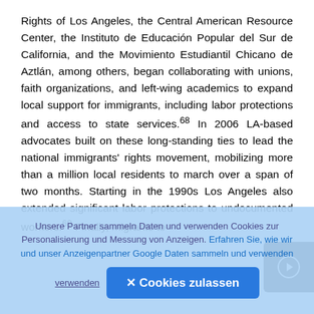Rights of Los Angeles, the Central American Resource Center, the Instituto de Educación Popular del Sur de California, and the Movimiento Estudiantil Chicano de Aztlán, among others, began collaborating with unions, faith organizations, and left-wing academics to expand local support for immigrants, including labor protections and access to state services.68 In 2006 LA-based advocates built on these long-standing ties to lead the national immigrants' rights movement, mobilizing more than a million local residents to march over a span of two months. Starting in the 1990s Los Angeles also extended significant labor protections to undocumented workers.69 Finally, migrants to
Unsere Partner sammeln Daten und verwenden Cookies zur Personalisierung und Messung von Anzeigen. Erfahren Sie, wie wir und unser Anzeigenpartner Google Daten sammeln und verwenden